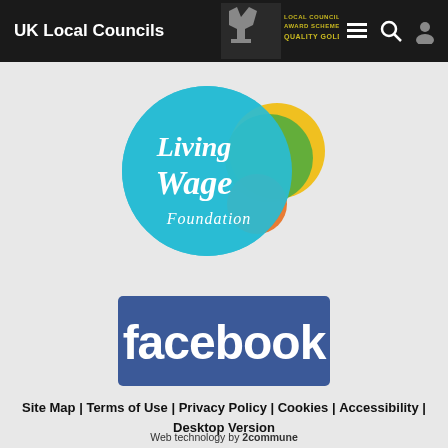UK Local Councils
[Figure (logo): Living Wage Foundation logo — cyan circle overlapping with green and yellow circles, orange overlap, with 'Living Wage Foundation' text in white italic]
[Figure (logo): Facebook logo — dark blue rounded rectangle with white 'facebook' text]
Site Map | Terms of Use | Privacy Policy | Cookies | Accessibility | Desktop Version
Web technology by 2commune HTML5 validated. WCAG compliant. Page generated in 0.1397 seconds.